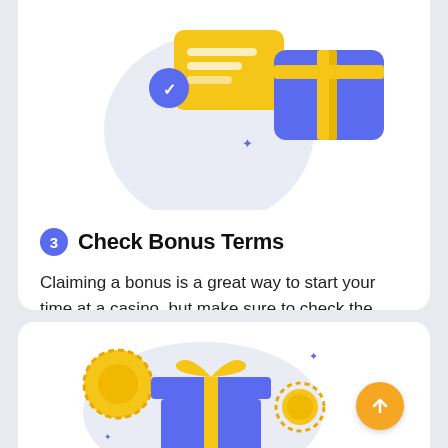[Figure (illustration): Partial illustration at top showing a checklist/document icon with a blue checkmark circle badge, a blue gift box with yellow ribbon, decorative sparkle stars, on a light gray circular background. Cropped at top.]
3 Check Bonus Terms
Claiming a bonus is a great way to start your time at a casino, but make sure to check the T&Cs so you know what's required.
[Figure (illustration): Partial illustration at bottom showing a gift box with blue base and yellow ribbon bow, gold coin circles with dashed borders (dashed coin outlines), sparkle stars, on a light background. Cropped at bottom. Orange circle with upward arrow (scroll-up button) at bottom right.]